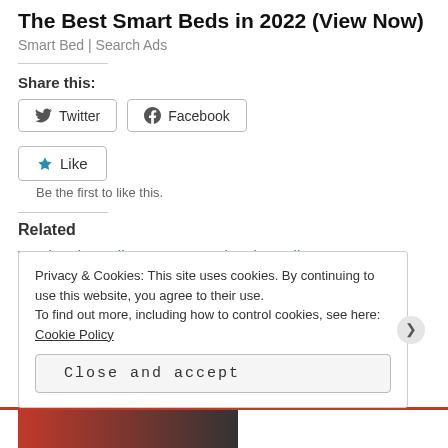The Best Smart Beds in 2022 (View Now)
Smart Bed | Search Ads
Share this:
[Figure (other): Twitter and Facebook share buttons]
[Figure (other): Like button with star icon and text 'Be the first to like this.']
Related
Weekend Reading: May    Weekend Reading:
Privacy & Cookies: This site uses cookies. By continuing to use this website, you agree to their use.
To find out more, including how to control cookies, see here: Cookie Policy
Close and accept